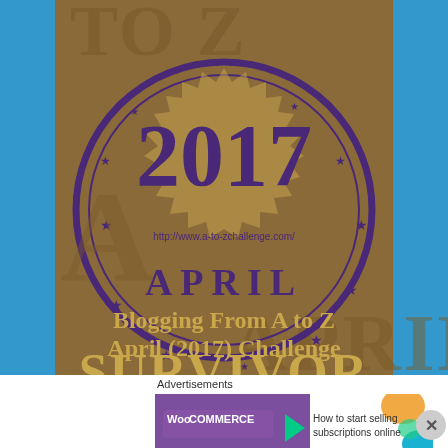[Figure (illustration): Blogging From A to Z April (2017) Challenge Survivor badge/stamp graphic on brown background with teal border sides. Features large purple '2017' text, circular stamp design with stars, 'APRIL' text, URL http://www.a-to-zchallenge.com/, and gold text 'Blogging From A to Z April (2017) Challenge SURVIVOR'.]
Advertisements
[Figure (illustration): WooCommerce advertisement banner: 'How to start selling subscriptions online']